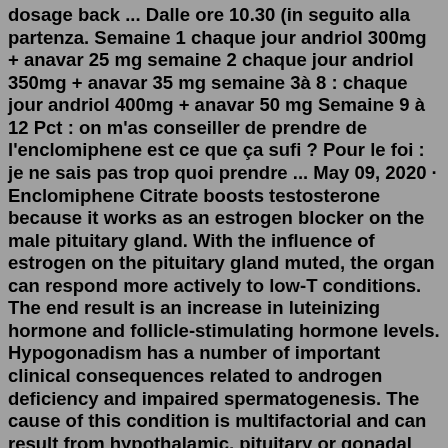dosage back ... Dalle ore 10.30 (in seguito alla partenza. Semaine 1 chaque jour andriol 300mg + anavar 25 mg semaine 2 chaque jour andriol 350mg + anavar 35 mg semaine 3à 8 : chaque jour andriol 400mg + anavar 50 mg Semaine 9 à 12 Pct : on m'as conseiller de prendre de l'enclomiphene est ce que ça sufi ? Pour le foi : je ne sais pas trop quoi prendre ... May 09, 2020 · Enclomiphene Citrate boosts testosterone because it works as an estrogen blocker on the male pituitary gland. With the influence of estrogen on the pituitary gland muted, the organ can respond more actively to low-T conditions. The end result is an increase in luteinizing hormone and follicle-stimulating hormone levels. Hypogonadism has a number of important clinical consequences related to androgen deficiency and impaired spermatogenesis. The cause of this condition is multifactorial and can result from hypothalamic, pituitary or gonadal dysfunction as well as factors that affect hormonal signaling along the hypothalamic-pituitary-gonadal axis.Dosages of